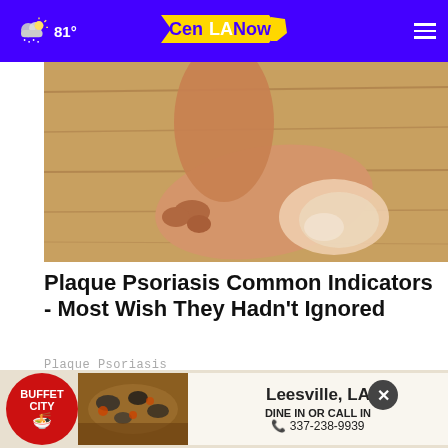81° CenLA Now
[Figure (photo): Close-up photo of a human foot with psoriasis-affected skin on a wooden floor background]
Plaque Psoriasis Common Indicators - Most Wish They Hadn't Ignored
Plaque Psoriasis
[Figure (illustration): Partial advertisement illustration showing a figure with pain lightning bolts]
[Figure (photo): Buffet City restaurant advertisement banner showing Leesville, LA - Dine In or Call In 337-238-9939]